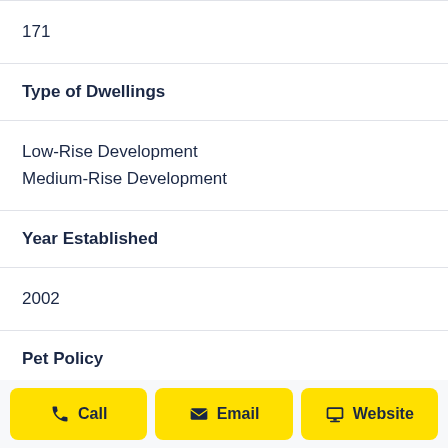171
Type of Dwellings
Low-Rise Development
Medium-Rise Development
Year Established
2002
Pet Policy
Call | Email | Website